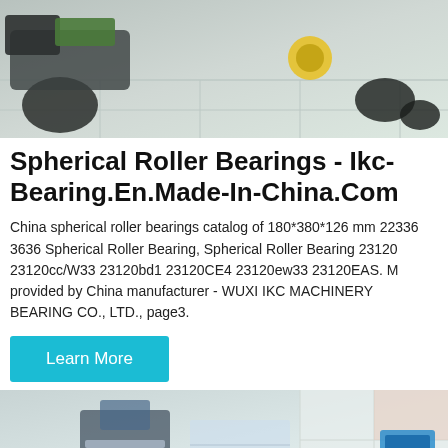[Figure (photo): Photo of construction/agricultural machinery on a tiled floor, top portion visible]
Spherical Roller Bearings - Ikc-Bearing.En.Made-In-China.Com
China spherical roller bearings catalog of 180*380*126 mm 22336 3636 Spherical Roller Bearing, Spherical Roller Bearing 23120 23120cc/W33 23120bd1 23120CE4 23120ew33 23120EAS. M provided by China manufacturer - WUXI IKC MACHINERY BEARING CO., LTD., page3.
[Figure (other): Learn More button - cyan/teal colored rectangular button]
[Figure (photo): Partial photo of industrial/exhibition setting with machinery, bottom of page]
MAIL   ADVISORY   OFFER